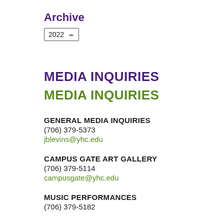Archive
2022 ▾
MEDIA INQUIRIES
MEDIA INQUIRIES
GENERAL MEDIA INQUIRIES
(706) 379-5373
jblevins@yhc.edu
CAMPUS GATE ART GALLERY
(706) 379-5114
campusgate@yhc.edu
MUSIC PERFORMANCES
(706) 379-5182